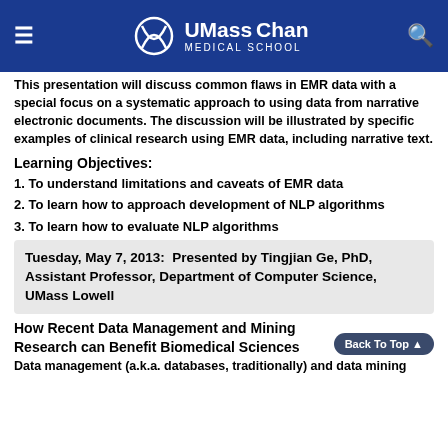UMass Chan Medical School
This presentation will discuss common flaws in EMR data with a special focus on a systematic approach to using data from narrative electronic documents. The discussion will be illustrated by specific examples of clinical research using EMR data, including narrative text.
Learning Objectives:
1. To understand limitations and caveats of EMR data
2. To learn how to approach development of NLP algorithms
3. To learn how to evaluate NLP algorithms
Tuesday, May 7, 2013:  Presented by Tingjian Ge, PhD, Assistant Professor, Department of Computer Science, UMass Lowell
How Recent Data Management and Mining Research can Benefit Biomedical Sciences
Data management (a.k.a. databases, traditionally) and data mining